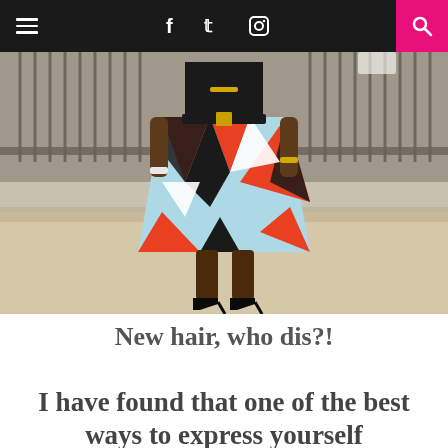≡  f  𝕥  📷  🔍
[Figure (photo): A woman wearing a colorful geometric-patterned skirt (orange, black, light blue, white triangles) with black heels, standing outdoors near a metal fence gate on a concrete ground.]
New hair, who dis?!
I have found that one of the best ways to express yourself